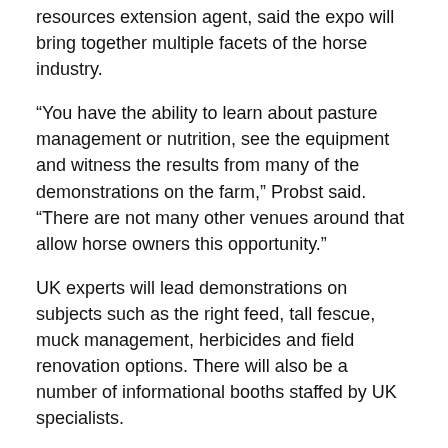resources extension agent, said the expo will bring together multiple facets of the horse industry.
“You have the ability to learn about pasture management or nutrition, see the equipment and witness the results from many of the demonstrations on the farm,” Probst said. “There are not many other venues around that allow horse owners this opportunity.”
UK experts will lead demonstrations on subjects such as the right feed, tall fescue, muck management, herbicides and field renovation options. There will also be a number of informational booths staffed by UK specialists.
To date, corporate sponsors for this year’s event include America’s Alfalfa, BASF—The Chemical Company, Central Equipment, McCauley Brothers Feed, Pennington Seed, Southern States and UK Ag Equine Programs.
Event vendors include Allied Seed LLC, Bevins Motors, Central Kentucky Ag Credit branches in Lexington and Paris, Chrysler at Nicholasville, DOW Chemical Company, Easy Riders Ranch LLC, Farm Credit, Hallway Foods